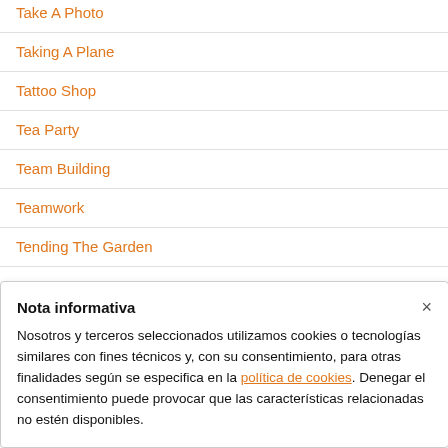Take A Photo
Taking A Plane
Tattoo Shop
Tea Party
Team Building
Teamwork
Tending The Garden
Nota informativa
Nosotros y terceros seleccionados utilizamos cookies o tecnologías similares con fines técnicos y, con su consentimiento, para otras finalidades según se especifica en la política de cookies. Denegar el consentimiento puede provocar que las características relacionadas no estén disponibles.